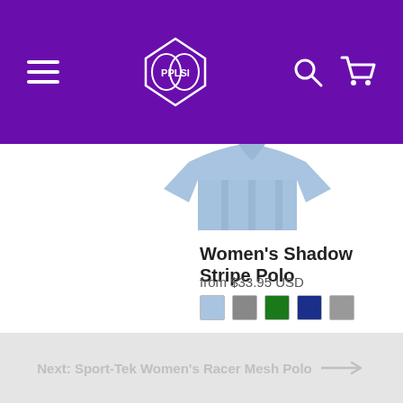PPLSI navigation header with hamburger menu, PPLSI logo, search icon, and cart icon
[Figure (photo): Women's polo shirt in light blue, partially visible at top right]
Women's Shadow Stripe Polo
from $33.95 USD
[Figure (other): Five color swatches: light blue, gray, green, navy, dark gray]
Next: Sport-Tek Women's Racer Mesh Polo →